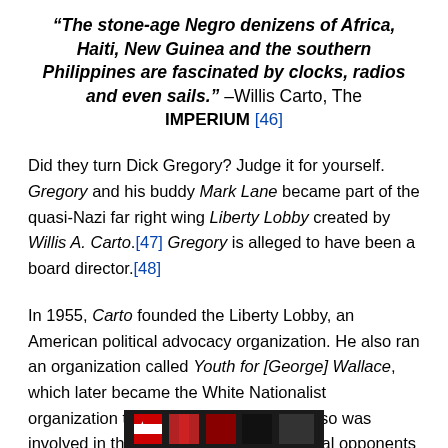“The stone-age Negro denizens of Africa, Haiti, New Guinea and the southern Philippines are fascinated by clocks, radios and even sails.” –Willis Carto, The IMPERIUM [46]
Did they turn Dick Gregory? Judge it for yourself. Gregory and his buddy Mark Lane became part of the quasi-Nazi far right wing Liberty Lobby created by Willis A. Carto.[47] Gregory is alleged to have been a board director.[48]
In 1955, Carto founded the Liberty Lobby, an American political advocacy organization. He also ran an organization called Youth for [George] Wallace, which later became the White Nationalist organization the National Alliance. He also was involved in the Populist Party until political opponents took control over the party.[49]
[Figure (photo): Partial image of a flag or banner visible at the bottom of the page]